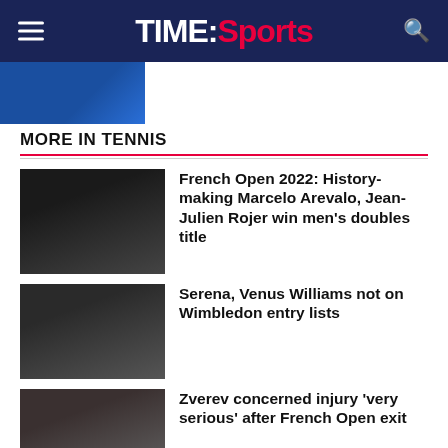TIME:Sports
MORE IN TENNIS
[Figure (photo): Tennis players holding trophy at French Open 2022]
French Open 2022: History-making Marcelo Arevalo, Jean-Julien Rojer win men's doubles title
[Figure (photo): Serena Williams on tennis court with official]
Serena, Venus Williams not on Wimbledon entry lists
[Figure (photo): Zverev on crutches after French Open injury]
Zverev concerned injury 'very serious' after French Open exit
[Figure (photo): Coco Gauff at French Open]
French Open: Teenager Coco Gauff